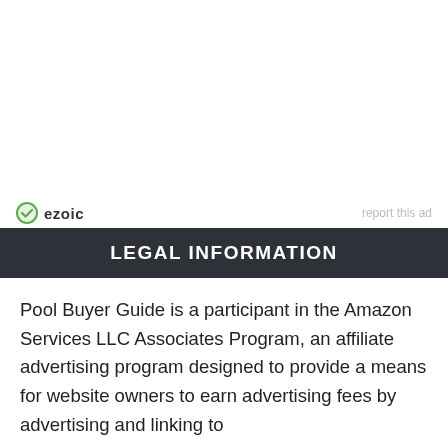[Figure (logo): Ezoic logo with green circular checkmark icon and 'ezoic' text in bold, with 'report this ad' link on the right]
LEGAL INFORMATION
Pool Buyer Guide is a participant in the Amazon Services LLC Associates Program, an affiliate advertising program designed to provide a means for website owners to earn advertising fees by advertising and linking to